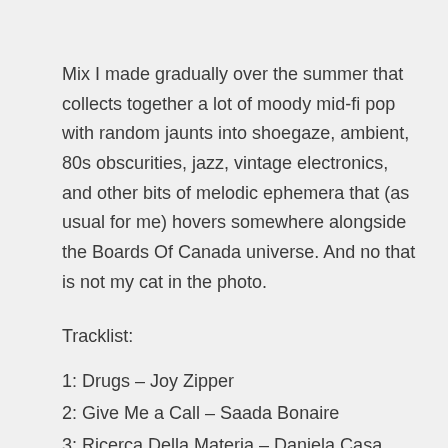Mix I made gradually over the summer that collects together a lot of moody mid-fi pop with random jaunts into shoegaze, ambient, 80s obscurities, jazz, vintage electronics, and other bits of melodic ephemera that (as usual for me) hovers somewhere alongside the Boards Of Canada universe. And no that is not my cat in the photo.
Tracklist:
1: Drugs – Joy Zipper
2: Give Me a Call – Saada Bonaire
3: Ricerca Della Materia – Daniela Casa